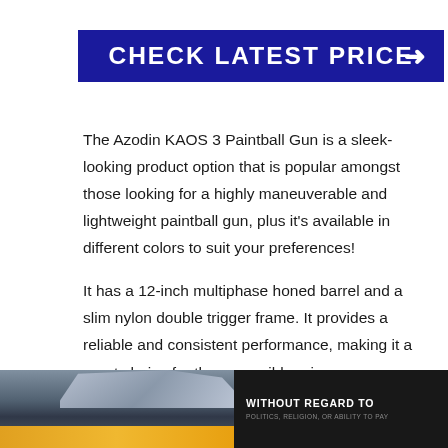[Figure (other): Dark blue banner button with text CHECK LATEST PRICE and a right-pointing arrow]
The Azodin KAOS 3 Paintball Gun is a sleek-looking product option that is popular amongst those looking for a highly maneuverable and lightweight paintball gun, plus it's available in different colors to suit your preferences!
It has a 12-inch multiphase honed barrel and a slim nylon double trigger frame. It provides a reliable and consistent performance, making it a great choice for the accessible price.
It also features an adjustable feather regulator and a
[Figure (photo): Advertisement banner showing cargo being loaded onto an airplane, with dark panel on right reading WITHOUT REGARD TO POLITICS, RELIGION, OR ABILITY TO PAY]